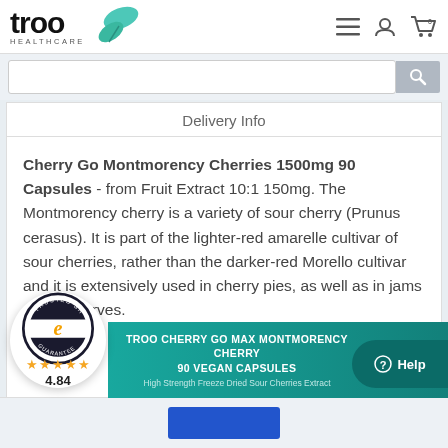[Figure (logo): Troo Healthcare logo with teal leaf graphic and navigation icons (hamburger menu, user, shopping cart)]
[Figure (screenshot): Search bar with magnifying glass icon]
Delivery Info
Cherry Go Montmorency Cherries 1500mg 90 Capsules - from Fruit Extract 10:1 150mg. The Montmorency cherry is a variety of sour cherry (Prunus cerasus). It is part of the lighter-red amarelle cultivar of sour cherries, rather than the darker-red Morello cultivar and it is extensively used in cherry pies, as well as in jams and preserves.
[Figure (logo): Trusted Shops Guarantee badge with gold stars rating 4.84]
[Figure (infographic): Teal banner: TROO CHERRY GO MAX MONTMORENCY CHERRY 90 VEGAN CAPSULES - High Strength Freeze Dried Sour Cherries Extract]
[Figure (other): Help button (teal circle with question mark and Help text)]